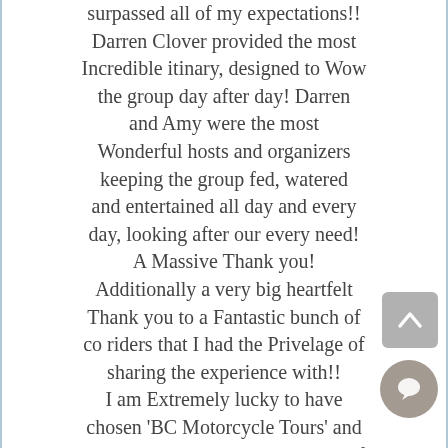surpassed all of my expectations!! Darren Clover provided the most Incredible itinary, designed to Wow the group day after day! Darren and Amy were the most Wonderful hosts and organizers keeping the group fed, watered and entertained all day and every day, looking after our every need! A Massive Thank you! Additionally a very big heartfelt Thank you to a Fantastic bunch of co riders that I had the Privelage of sharing the experience with!! I am Extremely lucky to have chosen 'BC Motorcycle Tours' and I'm hoping I can take part in one of the Veterans rides sometime in the future! There is such a Variety of different rides available, not only across USA but Europe as well. So m... so that it's hard to know which one